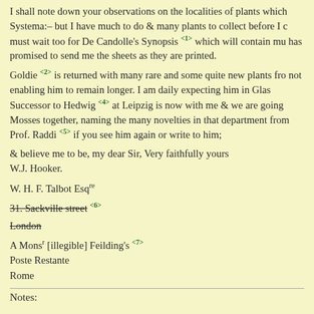I shall note down your observations on the localities of plants which Systema:– but I have much to do & many plants to collect before I must wait too for De Candolle's Synopsis <1> which will contain mu has promised to send me the sheets as they are printed.
Goldie <2> is returned with many rare and some quite new plants fro not enabling him to remain longer. I am daily expecting him in Glas Successor to Hedwig <4> at Leipzig is now with me & we are going Mosses together, naming the many novelties in that department from Prof. Raddi <5> if you see him again or write to him;
& believe me to be, my dear Sir, Very faithfully yours
W.J. Hooker.
W. H. F. Talbot Esqre
31. Sackville street <6> [strikethrough]
London [strikethrough]
A Monsr [illegible] Feilding's <7>
Poste Restante
Rome
Notes: